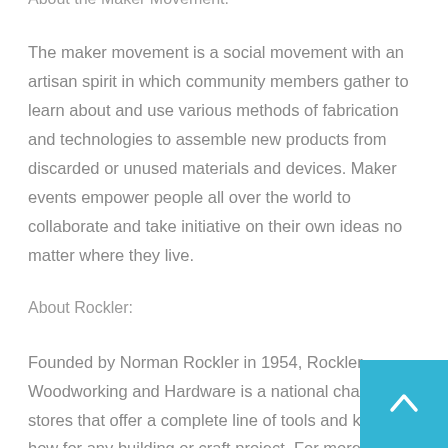About the Maker Movement:
The maker movement is a social movement with an artisan spirit in which community members gather to learn about and use various methods of fabrication and technologies to assemble new products from discarded or unused materials and devices. Maker events empower people all over the world to collaborate and take initiative on their own ideas no matter where they live.
About Rockler:
Founded by Norman Rockler in 1954, Rockler Woodworking and Hardware is a national chain of stores that offer a complete line of tools and know-how for any building or craft project. For more information go to